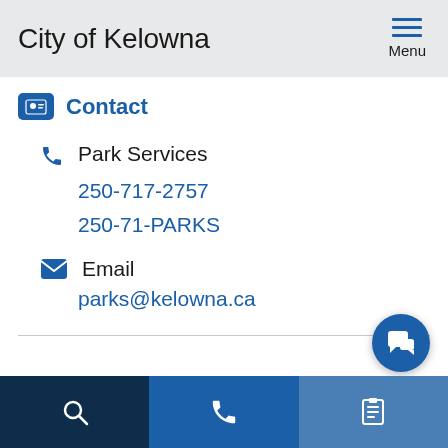City of Kelowna
Contact
Park Services
250-717-2757
250-71-PARKS
Email
parks@kelowna.ca